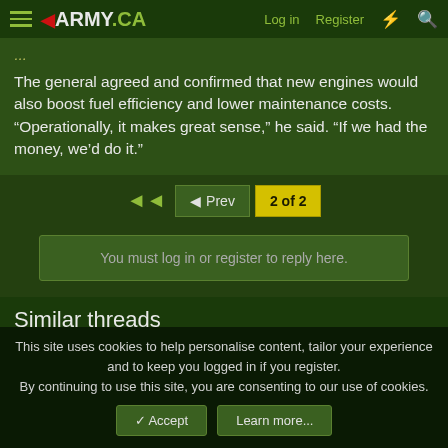◀◀ ARMY.CA | Log in | Register
The general agreed and confirmed that new engines would also boost fuel efficiency and lower maintenance costs. “Operationally, it makes great sense,” he said. “If we had the money, we’d do it.”
◄ Prev | 2 of 2
You must log in or register to reply here.
Similar threads
This site uses cookies to help personalise content, tailor your experience and to keep you logged in if you register. By continuing to use this site, you are consenting to our use of cookies.
Accept | Learn more...